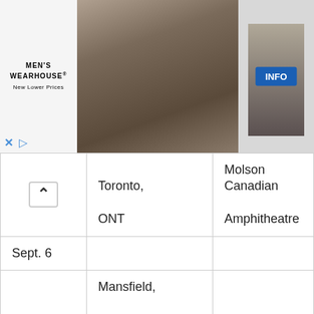[Figure (photo): Men's Wearhouse advertisement banner showing a couple in formal wear and a man in a suit, with an INFO button]
| Date | Location | Venue |
| --- | --- | --- |
| Sept. 6 | Toronto, ONT | Molson Canadian Amphitheatre |
| Sept. 11 | Mansfield, MA | Xfinity Center |
| Sept. 12 | Hartford, CT | XFINITY Theatre |
| Sept. 13 | Camden, NJ | Susquehanna Bank Center |
| Oct. 2 | West Palm Beach, FL | Coral Sky Amphitheatre |
|  |  | MIDFLORIDA Credit |